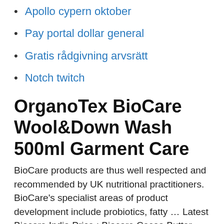Apollo cypern oktober
Pay portal dollar general
Gratis rådgivning arvsrätt
Notch twitch
OrganoTex BioCare Wool&Down Wash 500ml Garment Care
BioCare products are thus well respected and recommended by UK nutritional practitioners. BioCare's specialist areas of product development include probiotics, fatty … Latest Biocare India Price ; Biocare Cocoa Butter Face Body Cream :